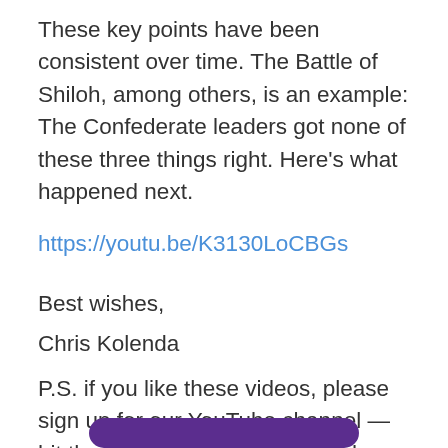These key points have been consistent over time. The Battle of Shiloh, among others, is an example: The Confederate leaders got none of these three things right. Here's what happened next.
https://youtu.be/K3130LoCBGs
Best wishes,
Chris Kolenda
P.S. if you like these videos, please sign up for our YouTube channel — hit the bell so you get notified when we roll out a new video.
[Figure (other): Purple rounded button at the bottom of the page]